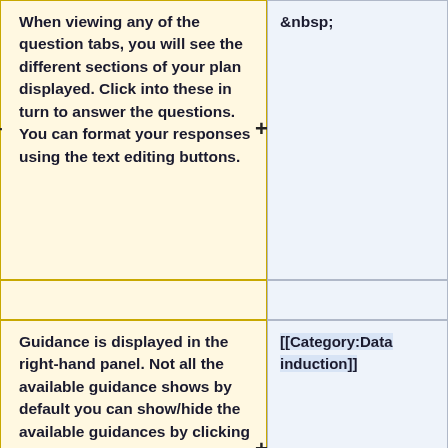When viewing any of the question tabs, you will see the different sections of your plan displayed. Click into these in turn to answer the questions. You can format your responses using the text editing buttons.
&nbsp;
Guidance is displayed in the right-hand panel. Not all the available guidance shows by default you can show/hide the available guidances by clicking on their headers.
[[Category:Data induction]]